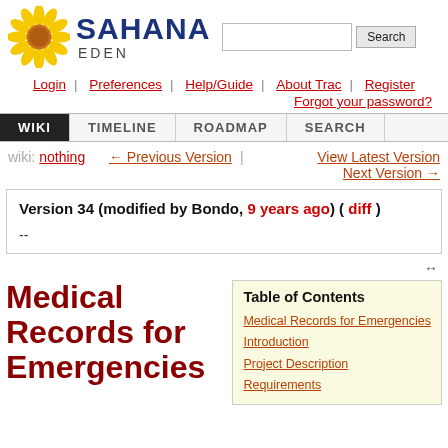[Figure (logo): Sahana Eden logo with sunflower graphic, SAHANA text in dark blue, EDEN subtitle, and search box with Search button]
Login | Preferences | Help/Guide | About Trac | Register | Forgot your password?
WIKI | TIMELINE | ROADMAP | SEARCH
wiki: nothing ← Previous Version | View Latest Version Next Version →
Version 34 (modified by Bondo, 9 years ago) ( diff )
--
Medical Records for Emergencies
Table of Contents
Medical Records for Emergencies
Introduction
Project Description
Requirements